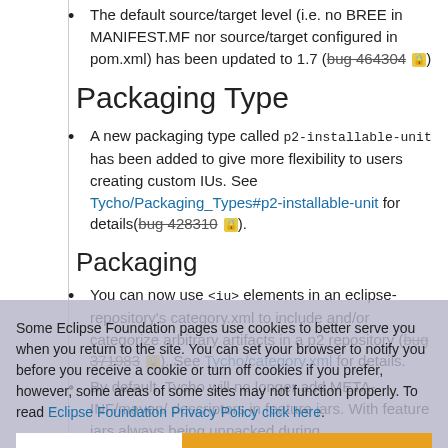The default source/target level (i.e. no BREE in MANIFEST.MF nor source/target configured in pom.xml) has been updated to 1.7 (bug 464304 🔒)
Packaging Type
A new packaging type called p2-installable-unit has been added to give more flexibility to users creating custom IUs. See Tycho/Packaging_Types#p2-installable-unit for details(bug 428310 🔒).
Packaging
You can now use <iu> elements in an eclipse-repository's category.xml to include and/or categorize arbitrary artifacts in a p2 repository (bug 371983 🔒). See Tycho/category.xml for details.
By default, Tycho will no longer add META-INF/maven/ descriptors in feature jars. With feature jars always being unpacked during installation, the maven descriptors would then be added
Some Eclipse Foundation pages use cookies to better serve you when you return to the site. You can set your browser to notify you before you receive a cookie or turn off cookies if you prefer, however, some areas of some sites may not function properly. To read Eclipse Foundation Privacy Policy click here.
Decline | Allow cookies